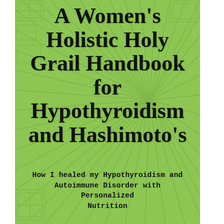[Figure (illustration): Book cover with green background featuring starburst/radial line pattern watermark. Contains main title in cursive script and subtitle in bold monospace font.]
A Women's Holistic Holy Grail Handbook for Hypothyroidism and Hashimoto's
How I healed my Hypothyroidism and Autoimmune Disorder with Personalized Nutrition